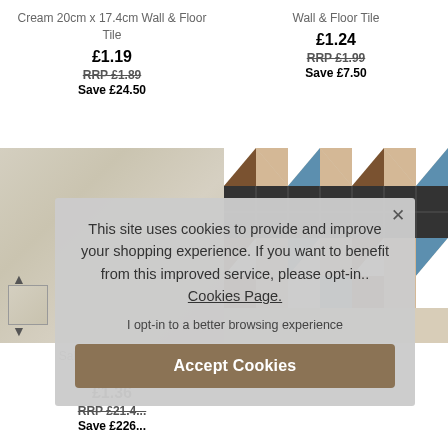Cream 20cm x 17.4cm Wall & Floor Tile
£1.19
RRP £1.89
Save £24.50
Wall & Floor Tile
£1.24
RRP £1.99
Save £7.50
[Figure (photo): Salt and Pepper Cream 30cm floor tile - beige/cream textured surface]
Salt & Pepper Cre... 30cm Floor...
£1.36
RRP £21.4...
Save £226...
[Figure (photo): Mosaic patterned wall and floor tile with geometric design in brown, black, cream, and blue colors]
This site uses cookies to provide and improve your shopping experience. If you want to benefit from this improved service, please opt-in.. Cookies Page.
I opt-in to a better browsing experience
Accept Cookies